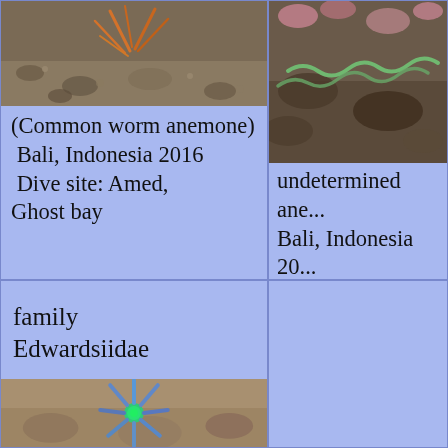[Figure (photo): Photograph of a common worm anemone on sandy/rocky substrate, Bali Indonesia 2016, Dive site: Amed, Ghost bay]
(Common worm anemone)
 Bali, Indonesia 2016
 Dive site: Amed, Ghost bay
[Figure (photo): Photograph of an undetermined anemone on rocky substrate, Bali Indonesia, Dive site: Seraya]
undetermined ane...
Bali, Indonesia 20...
Dive site: Seraya ...
family Edwardsiidae
[Figure (photo): Photograph of a star-shaped anemone (family Edwardsiidae) on sandy substrate, showing blue-green tentacles radiating outward]